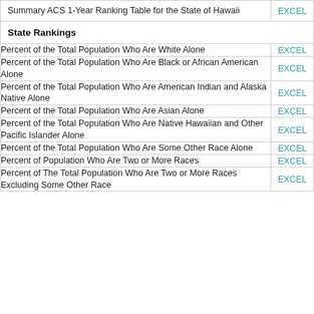| Description | Download |
| --- | --- |
| Summary ACS 1-Year Ranking Table for the State of Hawaii | EXCEL |
| State Rankings |  |
| Percent of the Total Population Who Are White Alone | EXCEL |
| Percent of the Total Population Who Are Black or African American Alone | EXCEL |
| Percent of the Total Population Who Are American Indian and Alaska Native Alone | EXCEL |
| Percent of the Total Population Who Are Asian Alone | EXCEL |
| Percent of the Total Population Who Are Native Hawaiian and Other Pacific Islander Alone | EXCEL |
| Percent of the Total Population Who Are Some Other Race Alone | EXCEL |
| Percent of Population Who Are Two or More Races | EXCEL |
| Percent of The Total Population Who Are Two or More Races Excluding Some Other Race | EXCEL |